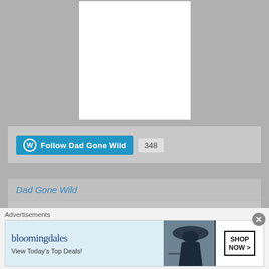[Figure (illustration): White rectangle placeholder image centered on gray background at top of page]
[Figure (screenshot): WordPress Follow button widget showing 'Follow Dad Gone Wild' button in blue with count of 348]
Follow Dad Gone Wild  348
Dad Gone Wild
History
August 2022 (8)
July 2022 (9)
Advertisements
[Figure (photo): Bloomingdale's advertisement banner: 'bloomingdales View Today's Top Deals!' with woman in large hat and SHOP NOW button]